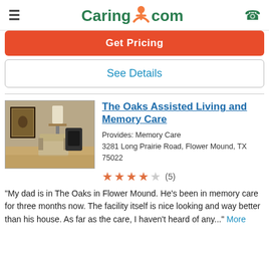Caring.com
Get Pricing
See Details
The Oaks Assisted Living and Memory Care
Provides: Memory Care
3281 Long Prairie Road, Flower Mound, TX 75022
★★★★☆ (5)
"My dad is in The Oaks in Flower Mound. He's been in memory care for three months now. The facility itself is nice looking and way better than his house. As far as the care, I haven't heard of any..." More